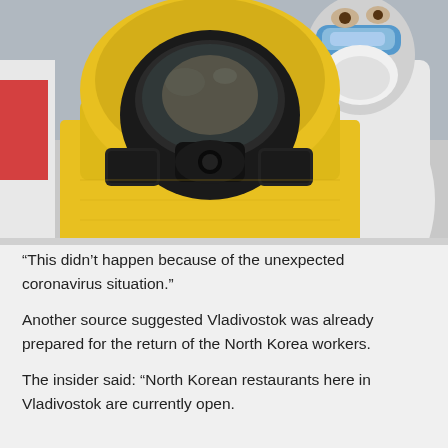[Figure (photo): Two people wearing hazmat/PPE suits. The person in the foreground wears a yellow hazmat suit with a black full-face respirator mask. The person in the background wears a white protective suit with blue safety goggles and a white respirator mask.]
“This didn’t happen because of the unexpected coronavirus situation.”
Another source suggested Vladivostok was already prepared for the return of the North Korea workers.
The insider said: “North Korean restaurants here in Vladivostok are currently open.